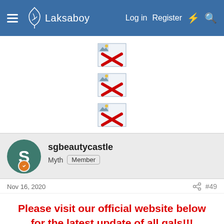Laksaboy  Log in  Register
[Figure (other): Broken image placeholder with red X]
[Figure (other): Broken image placeholder with red X]
[Figure (other): Broken image placeholder with red X]
sgbeautycastle
Myth  Member
Nov 16, 2020  #49
Please visit our official website below for the latest update of all gals!!!
[Figure (other): Broken image placeholder with red X]